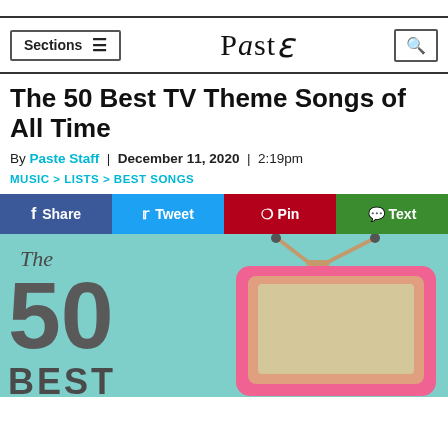Sections  [menu]  Paste  [search]
The 50 Best TV Theme Songs of All Time
By Paste Staff | December 11, 2020 | 2:19pm
MUSIC > LISTS > BEST SONGS
f Share  Tweet  Pin  Text
[Figure (illustration): Promotional graphic showing 'The 50 Best' text in large gray letters on a teal background alongside a pink vintage TV set with rabbit ear antennas]